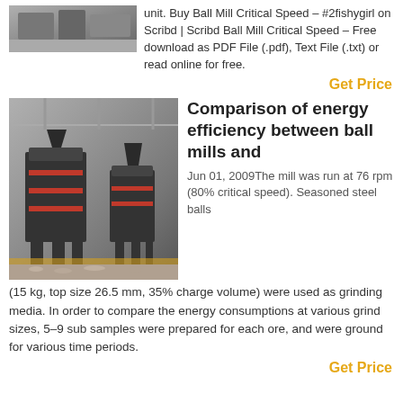[Figure (photo): Partial view of industrial machinery/mill equipment at top of page]
unit. Buy Ball Mill Critical Speed – #2fishygirl on Scribd | Scribd Ball Mill Critical Speed – Free download as PDF File (.pdf), Text File (.txt) or read online for free.
Get Price
[Figure (photo): Industrial ball mill and grinding equipment in a large factory/warehouse setting, with two large black steel frame machines on a floor covered with aggregate/gravel]
Comparison of energy efficiency between ball mills and
Jun 01, 2009The mill was run at 76 rpm (80% critical speed). Seasoned steel balls (15 kg, top size 26.5 mm, 35% charge volume) were used as grinding media. In order to compare the energy consumptions at various grind sizes, 5–9 sub samples were prepared for each ore, and were ground for various time periods.
Get Price